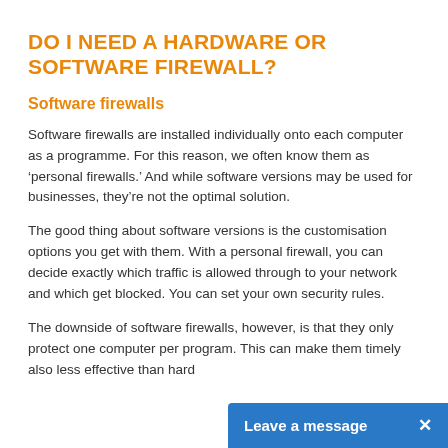DO I NEED A HARDWARE OR SOFTWARE FIREWALL?
Software firewalls
Software firewalls are installed individually onto each computer as a programme. For this reason, we often know them as ‘personal firewalls.’ And while software versions may be used for businesses, they’re not the optimal solution.
The good thing about software versions is the customisation options you get with them. With a personal firewall, you can decide exactly which traffic is allowed through to your network and which get blocked. You can set your own security rules.
The downside of software firewalls, however, is that they only protect one computer per program. This can make them timely also less effective than hard...